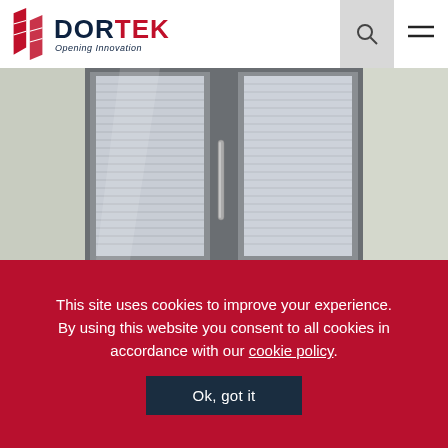DORTEK Opening Innovation
[Figure (photo): Glass sliding door with aluminum frame and long vertical handle, viewed from inside a building showing frosted/slatted glass panels]
This site uses cookies to improve your experience. By using this website you consent to all cookies in accordance with our cookie policy.
Ok, got it